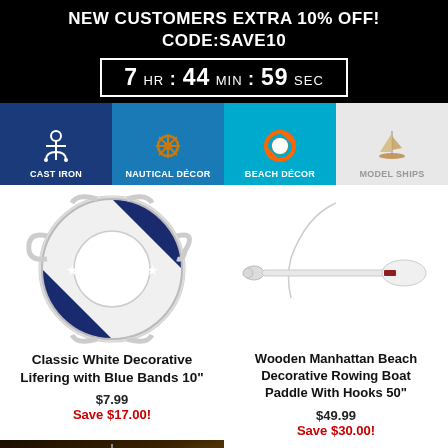NEW CUSTOMERS EXTRA 10% OFF!
CODE:SAVE10
7 HR : 44 MIN : 59 SEC
[Figure (infographic): Navigation bar with four category icons: Cast Iron (anchor), Nautical Décor (ship wheel), Beach Décor (life ring), Model Ships (sailboat)]
[Figure (photo): Classic White Decorative Life Ring with Blue Bands, 10 inch]
Classic White Decorative Lifering with Blue Bands 10"
$7.99
Save $17.00!
[Figure (photo): Wooden Manhattan Beach Decorative Rowing Boat Paddle with Hooks 50 inch]
Wooden Manhattan Beach Decorative Rowing Boat Paddle With Hooks 50"
$49.99
Save $30.00!
[Figure (photo): Gold/brass decorative hanging light or globe item, partially visible at bottom of page]